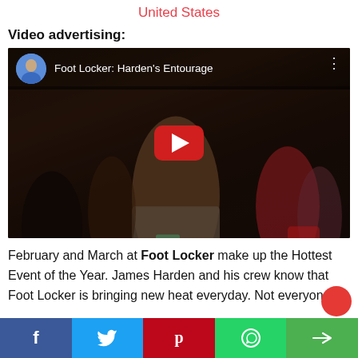United States
Video advertising:
[Figure (screenshot): YouTube video thumbnail for 'Foot Locker: Harden's Entourage' showing a young man in a gray t-shirt at a party scene with a red YouTube play button overlay and channel avatar in the top-left corner.]
February and March at Foot Locker make up the Hottest Event of the Year. James Harden and his crew know that Foot Locker is bringing new heat everyday. Not everyone